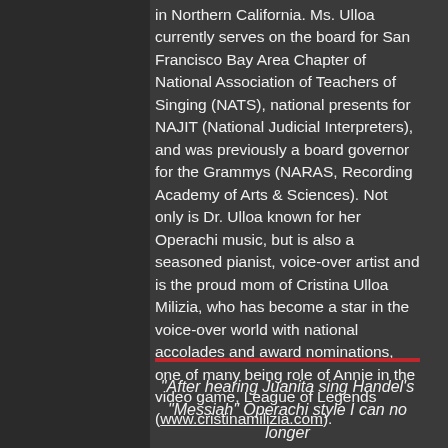in Northern California. Ms. Ulloa currently serves on the board for San Francisco Bay Area Chapter of National Association of Teachers of Singing (NATS), national presents for NAJIT (National Judicial Interpreters), and was previously a board governor for the Grammys (NARAS, Recording Academy of Arts & Sciences). Not only is Dr. Ulloa known for her Operachi music, but is also a seasoned pianist, voice-over artist and is the proud mom of Cristina Ulloa Milizia, who has become a star in the voice-over world with national accolades and award nominations, one of many being role of Annie in the video game, League of Legends (www.cristinamilizia.com).
"After hearing Juanita sing Handel's "Messiah" Operachi style I can no longer